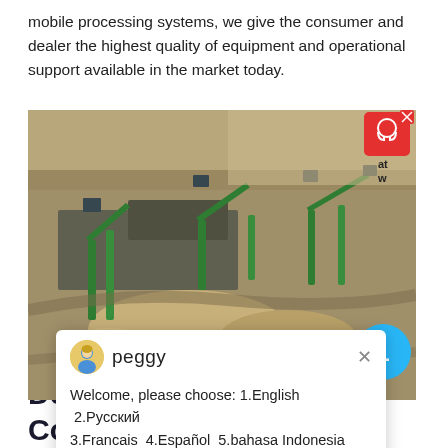mobile processing systems, we give the consumer and dealer the highest quality of equipment and operational support available in the market today.
[Figure (photo): Aerial view of a quarry or mining/processing plant with green conveyor belts, machinery, and sand/gravel piles. A chat widget popup from 'peggy' is overlaid on the photo with language selection options. A red support button is visible top-right, and a blue notification badge with '1' is at the bottom-right of the image.]
Dealer Locator Map & Contact Information